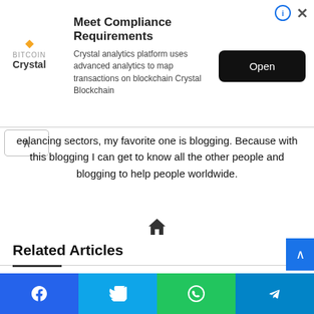[Figure (screenshot): Advertisement banner for Crystal Blockchain analytics platform with Open button]
eelancing sectors, my favorite one is blogging. Because with this blogging I can get to know all the other people and blogging to help people worldwide.
Related Articles
[Figure (screenshot): CU C Unit Admission Result - Check Now (red background button)]
[Figure (screenshot): CU A Unit Admission Result - Check Now (yellow background button)]
[Figure (screenshot): Social share bar with Facebook, Twitter, WhatsApp, Telegram buttons]